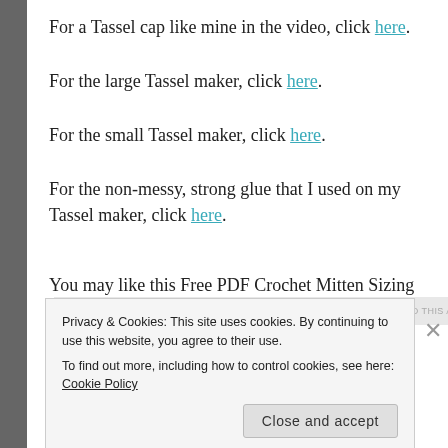For a Tassel cap like mine in the video, click here.
For the large Tassel maker, click here.
For the small Tassel maker, click here.
For the non-messy, strong glue that I used on my Tassel maker, click here.
You may like this Free PDF Crochet Mitten Sizing Chart to
Privacy & Cookies: This site uses cookies. By continuing to use this website, you agree to their use. To find out more, including how to control cookies, see here: Cookie Policy
Close and accept